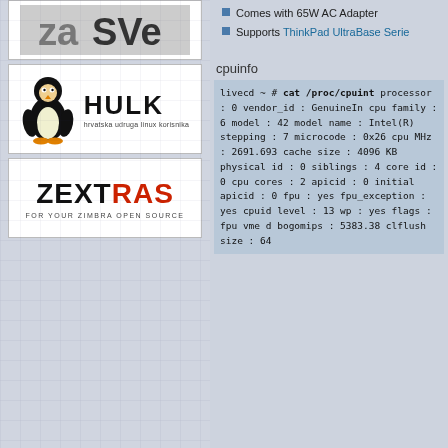[Figure (logo): ZaSve logo (partial, cropped at top)]
[Figure (logo): HULK - hrvatska udruga linux korisnika logo with Linux penguin]
[Figure (logo): ZEXTRAS FOR YOUR ZIMBRA OPEN SOURCE logo]
Comes with 65W AC Adapter
Supports ThinkPad UltraBase Serie...
cpuinfo
livecd ~ # cat /proc/cpuint
processor       : 0
vendor_id       : GenuineIn
cpu family      : 6
model           : 42
model name      : Intel(R)
stepping        : 7
microcode       : 0x26
cpu MHz         : 2691.693
cache size      : 4096 KB
physical id     : 0
siblings        : 4
core id         : 0
cpu cores       : 2
apicid          : 0
initial apicid  : 0
fpu             : yes
fpu_exception   : yes
cpuid level     : 13
wp              : yes
flags           : fpu vme d...
bogomips        : 5383.38
clflush size    : 64